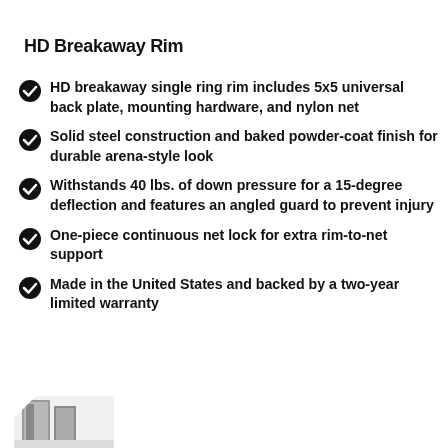HD Breakaway Rim
HD breakaway single ring rim includes 5x5 universal back plate, mounting hardware, and nylon net
Solid steel construction and baked powder-coat finish for durable arena-style look
Withstands 40 lbs. of down pressure for a 15-degree deflection and features an angled guard to prevent injury
One-piece continuous net lock for extra rim-to-net support
Made in the United States and backed by a two-year limited warranty
[Figure (photo): Partial photo of HD Breakaway Rim product, showing grey/silver metal bracket components at bottom left corner]